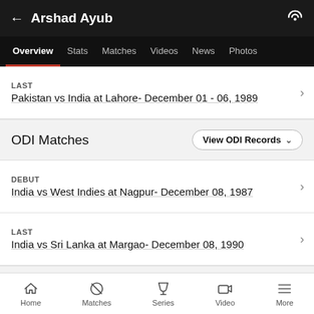← Arshad Ayub
Overview  Stats  Matches  Videos  News  Photos
LAST
Pakistan vs India at Lahore- December 01 - 06, 1989
ODI Matches
DEBUT
India vs West Indies at Nagpur- December 08, 1987
LAST
India vs Sri Lanka at Margao- December 08, 1990
FC Matches
Home  Matches  Series  Video  More